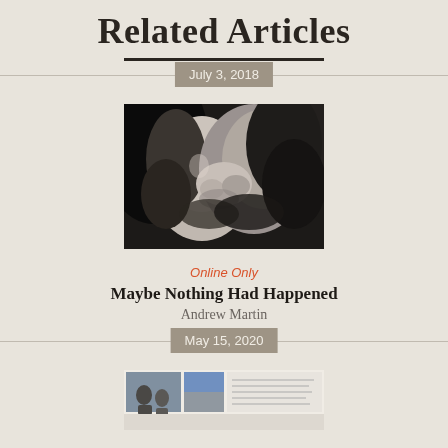Related Articles
July 3, 2018
[Figure (photo): Black and white close-up photo of two people kissing]
Online Only
Maybe Nothing Had Happened
Andrew Martin
May 15, 2020
[Figure (photo): Partial view of a collage or document page with images and text]